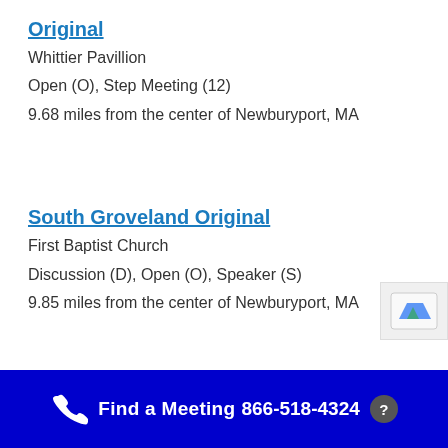Original
Whittier Pavillion
Open (O), Step Meeting (12)
9.68 miles from the center of Newburyport, MA
South Groveland Original
First Baptist Church
Discussion (D), Open (O), Speaker (S)
9.85 miles from the center of Newburyport, MA
Find a Meeting   866-518-4324